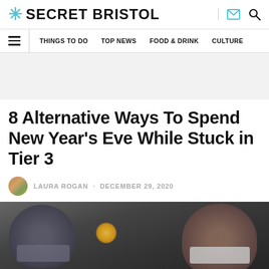SECRET BRISTOL
THINGS TO DO · TOP NEWS · FOOD & DRINK · CULTURE
[Figure (other): Grey advertisement placeholder area]
8 Alternative Ways To Spend New Year's Eve While Stuck in Tier 3
LAURA ROGAN · DECEMBER 29, 2020
[Figure (photo): Two people wearing face masks, blurred background with yellow light, dark tones]